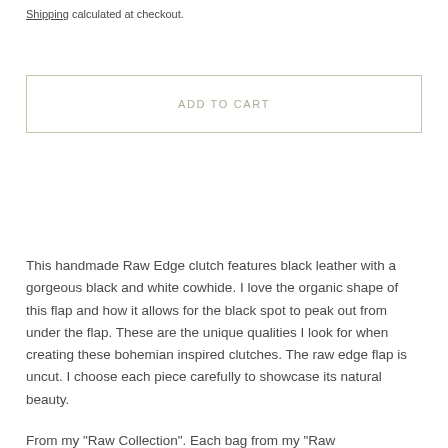Shipping calculated at checkout.
ADD TO CART
This handmade Raw Edge clutch features black leather with a gorgeous black and white cowhide. I love the organic shape of this flap and how it allows for the black spot to peak out from under the flap. These are the unique qualities I look for when creating these bohemian inspired clutches. The raw edge flap is uncut. I choose each piece carefully to showcase its natural beauty.
From my "Raw Collection". Each bag from my "Raw